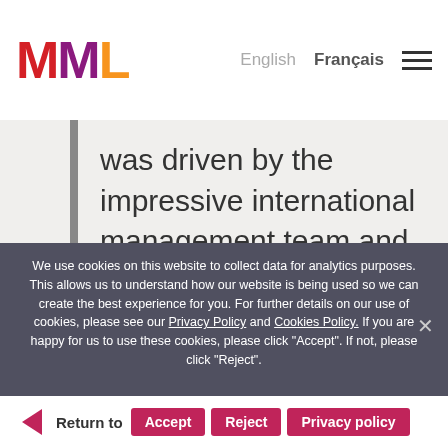MML | English | Français
was driven by the impressive international management team and the solid structured growth and development of the business to date year on year."
We use cookies on this website to collect data for analytics purposes. This allows us to understand how our website is being used so we can create the best experience for you. For further details on our use of cookies, please see our Privacy Policy and Cookies Policy. If you are happy for us to use these cookies, please click "Accept". If not, please click "Reject".
Return to | Accept | Reject | Privacy policy